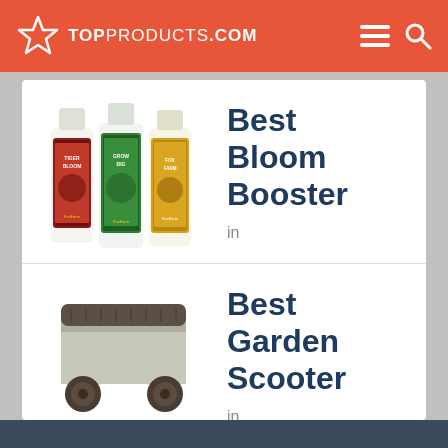TOPPRODUCTS.COM
[Figure (photo): Three bottles of FoxFarm fertilizer products: Tiger Bloom, Grow Big, and a third product]
Best Bloom Booster
in
[Figure (photo): Garden scooter/cart on wheels, gray and dark brown colored, low rectangular shape]
Best Garden Scooter
in